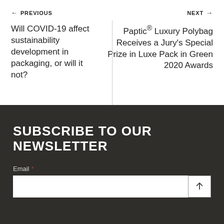← PREVIOUS
Will COVID-19 affect sustainability development in packaging, or will it not?
NEXT →
Paptic® Luxury Polybag Receives a Jury's Special Prize in Luxe Pack in Green 2020 Awards
SUBSCRIBE TO OUR NEWSLETTER
Email *
[Figure (other): Email input field with submit arrow button]